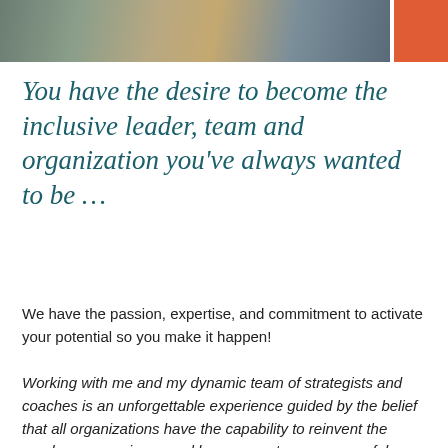[Figure (photo): Partial photo of people sitting together, showing the lower portion of the image; an orange decorative block is in the top-right corner]
You have the desire to become the inclusive leader, team and organization you've always wanted to be …
We have the passion, expertise, and commitment to activate your potential so you make it happen!
Working with me and my dynamic team of strategists and coaches is an unforgettable experience guided by the belief that all organizations have the capability to reinvent the employee experience and become a strong, purposeful organizations that is able to make a deep